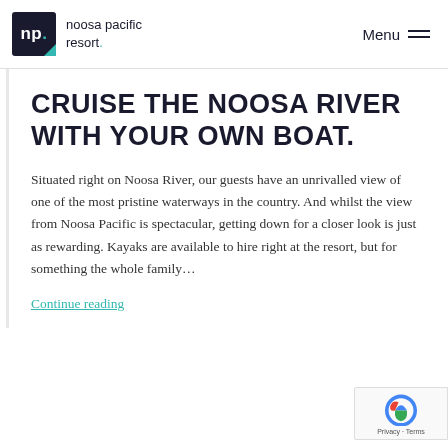np. noosa pacific resort. Menu
CRUISE THE NOOSA RIVER WITH YOUR OWN BOAT.
Situated right on Noosa River, our guests have an unrivalled view of one of the most pristine waterways in the country. And whilst the view from Noosa Pacific is spectacular, getting down for a closer look is just as rewarding. Kayaks are available to hire right at the resort, but for something the whole family…
Continue reading